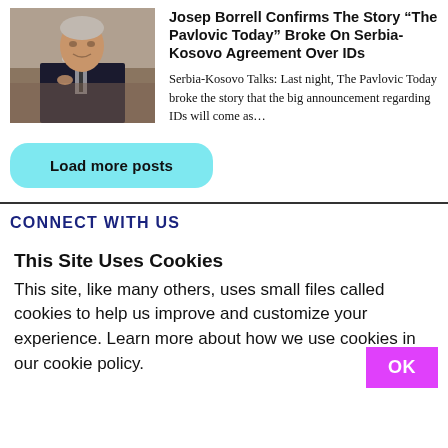[Figure (photo): Photo of Josep Borrell, an older man in a dark suit speaking at a podium with a microphone]
Josep Borrell Confirms The Story “The Pavlovic Today” Broke On Serbia-Kosovo Agreement Over IDs
Serbia-Kosovo Talks: Last night, The Pavlovic Today broke the story that the big announcement regarding IDs will come as…
Load more posts
CONNECT WITH US
This Site Uses Cookies
This site, like many others, uses small files called cookies to help us improve and customize your experience. Learn more about how we use cookies in our cookie policy.
OK